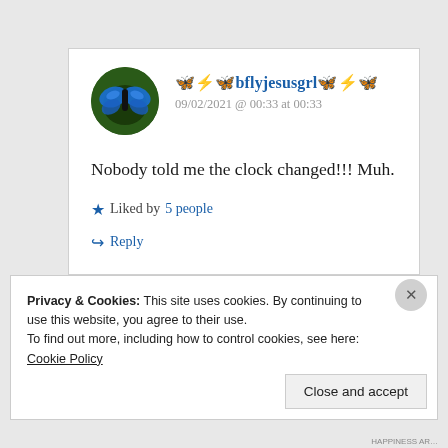[Figure (photo): Round avatar photo showing a blue morpho butterfly on a green background]
🦋🌩️🦋bflyjesusgrl🦋🌩️🦋
09/02/2021 @ 00:33 at 00:33
Nobody told me the clock changed!!! Muh.
★ Liked by 5 people
↪ Reply
Privacy & Cookies: This site uses cookies. By continuing to use this website, you agree to their use. To find out more, including how to control cookies, see here: Cookie Policy
Close and accept